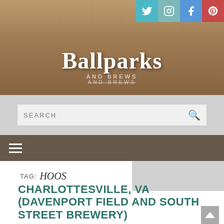[Figure (photo): Header banner with sepia-toned vintage baseball team photo and 'Ballparks AND BREWS AND BREWS' site title. Social media icons (Twitter, Instagram, Facebook, Pinterest) in top-right corner.]
SEARCH
≡ (hamburger menu icon)
TAG: HOOS
CHARLOTTESVILLE, VA (DAVENPORT FIELD AND SOUTH STREET BREWERY)